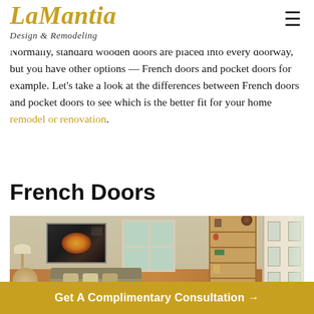LaMantia Design & Remodeling
Normally, standard wooden doors are placed into every doorway, but you have other options — French doors and pocket doors for example. Let's take a look at the differences between French doors and pocket doors to see which is the better fit for your home remodel or renovation.
French Doors
[Figure (photo): Interior living room photo showing a couch with pillows, a bookshelf, artwork on the wall, a lamp, a coffee table, and French doors on the right side letting in natural light.]
Get A Complimentary Consultation →